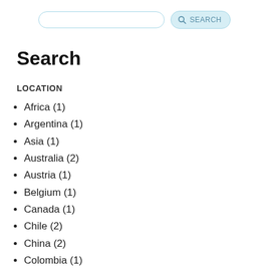SEARCH
Search
LOCATION
Africa (1)
Argentina (1)
Asia (1)
Australia (2)
Austria (1)
Belgium (1)
Canada (1)
Chile (2)
China (2)
Colombia (1)
Denmark (1)
Europe (5)